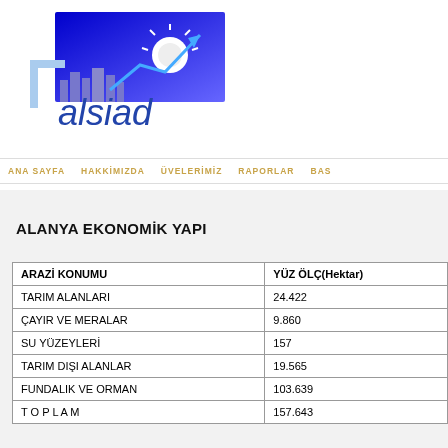[Figure (logo): alsiad logo with blue gradient background, cityscape silhouette, sun, and rising arrow graphic with 'alsiad' text below]
ANA SAYFA   HAKKİMIZDA   ÜVELERİMİZ   RAPORLAR   BAS
ALANYA EKONOMİK YAPI
| ARAZİ KONUMU | YÜZ ÖLÇ(Hektar) |
| --- | --- |
| TARIM ALANLARI | 24.422 |
| ÇAYIR VE MERALAR | 9.860 |
| SU YÜZEYLERİ | 157 |
| TARIM DIŞI ALANLAR | 19.565 |
| FUNDALIK VE ORMAN | 103.639 |
| T O P L A M | 157.643 |